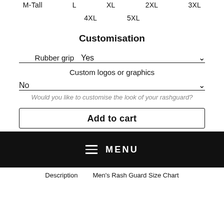M-Tall   L   XL   2XL   3XL
4XL   5XL
Customisation
Rubber grip   Yes
Custom logos or graphics
No
Would you like to customise the look of your rashguard?
Add to cart
MENU
Description   Men's Rash Guard Size Chart